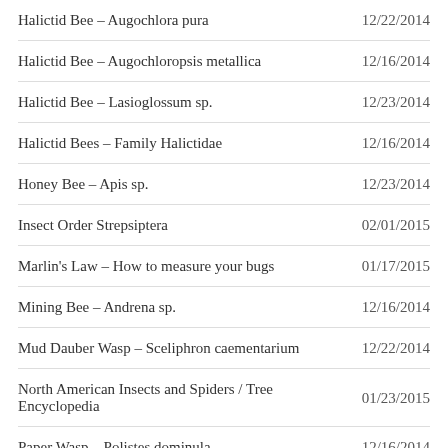Halictid Bee – Augochlora pura | 12/22/2014
Halictid Bee – Augochloropsis metallica | 12/16/2014
Halictid Bee – Lasioglossum sp. | 12/23/2014
Halictid Bees – Family Halictidae | 12/16/2014
Honey Bee – Apis sp. | 12/23/2014
Insect Order Strepsiptera | 02/01/2015
Marlin's Law – How to measure your bugs | 01/17/2015
Mining Bee – Andrena sp. | 12/16/2014
Mud Dauber Wasp – Sceliphron caementarium | 12/22/2014
North American Insects and Spiders / Tree Encyclopedia | 01/23/2015
Paper Wasp – Polistes dominula | 12/16/2014